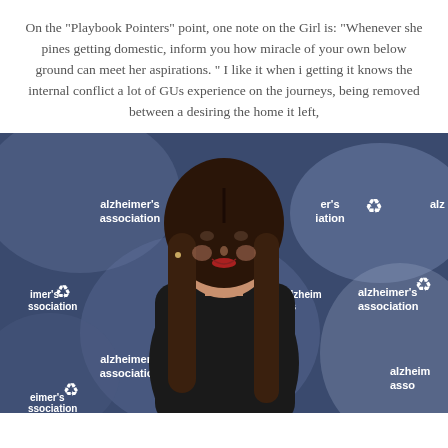On the "Playbook Pointers" point, one note on the Girl is: "Whenever she pines getting domestic, inform you how miracle of your own below ground can meet her aspirations. " I like it when i getting it knows the internal conflict a lot of GUs experience on the journeys, being removed between a desiring the home it left,
[Figure (photo): Woman in black dress posing in front of an Alzheimer's Association event backdrop with repeated logos]